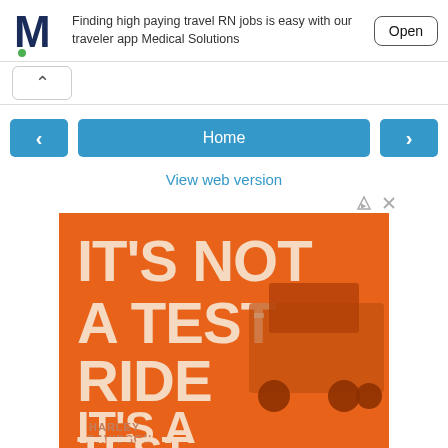[Figure (screenshot): Medical Solutions app banner with M logo, text 'Finding high paying travel RN jobs is easy with our traveler app Medical Solutions', and Open button]
[Figure (screenshot): Collapse/chevron up arrow button area]
[Figure (screenshot): Navigation row with left arrow, Home button, right arrow]
View web version
[Figure (photo): Orange advertisement with bold white text 'IT'S NOT A TEST RIDE IT'S A TEST FLEET' overlaid on a Harley-Davidson semi truck image]